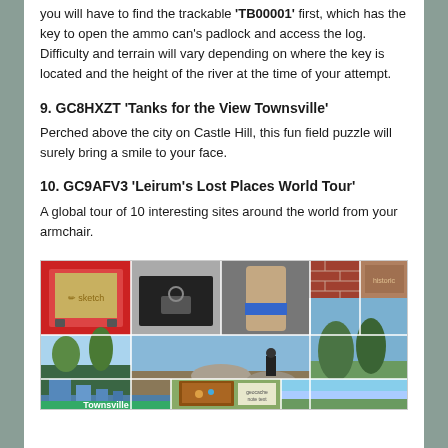you will have to find the trackable 'TB00001' first, which has the key to open the ammo can's padlock and access the log. Difficulty and terrain will vary depending on where the key is located and the height of the river at the time of your attempt.
9. GC8HXZT 'Tanks for the View Townsville'
Perched above the city on Castle Hill, this fun field puzzle will surely bring a smile to your face.
10. GC9AFV3 'Leirum's Lost Places World Tour'
A global tour of 10 interesting sites around the world from your armchair.
[Figure (photo): A collage of multiple geocaching-related photos showing items such as an Etch-a-Sketch toy, a padlocked bag, a cardboard tube, a hillside view, brick wall, rocks, a person on a cliff, Townsville skyline, a wooden box with objects, green field with note, and panoramic views.]